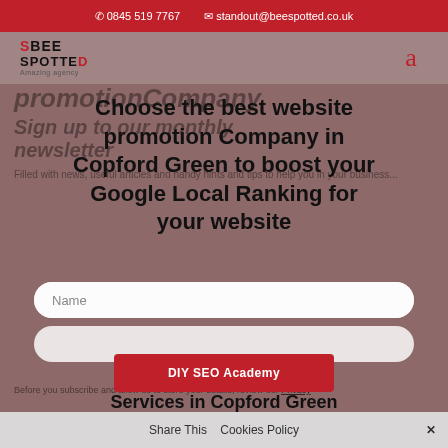☎ 0845 519 7767   ✉ standout@beespotted.co.uk
[Figure (logo): BeeSpotted logo with red S and D letters, tagline 'Amazing agency']
Choose the best website promotion Company in Copford Green to boost your Google Local Ranking for your website
Sign up to our monthly newsletter
Filled with news, useful articles and handy hints and tips to help you in your business...
Name
Best website promotion Services in Copford Green
Before you subscribe and allow us to store your details, review our Privacy
DIY SEO Academy
Share This   Cookies Policy